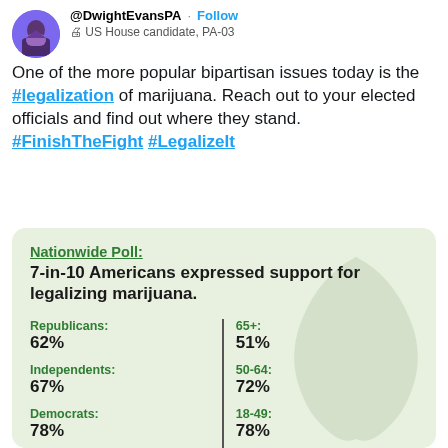[Figure (screenshot): Twitter/X profile avatar of @DwightEvansPA, circular profile photo]
@DwightEvansPA · Follow
🖨 US House candidate, PA-03
One of the more popular bipartisan issues today is the #legalization of marijuana. Reach out to your elected officials and find out where they stand. #FinishTheFight #LegalizeIt
[Figure (infographic): Nationwide Poll infographic on marijuana legalization support. Title: Nationwide Poll: 7-in-10 Americans expressed support for legalizing marijuana. Statistics: Republicans: 62%, Independents: 67%, Democrats: 78%, 65+: 51%, 50-64: 72%, 18-49: 78%]